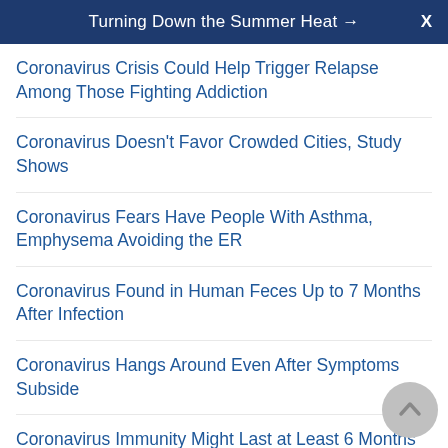Turning Down the Summer Heat → X
Coronavirus Crisis Could Help Trigger Relapse Among Those Fighting Addiction
Coronavirus Doesn't Favor Crowded Cities, Study Shows
Coronavirus Fears Have People With Asthma, Emphysema Avoiding the ER
Coronavirus Found in Human Feces Up to 7 Months After Infection
Coronavirus Hangs Around Even After Symptoms Subside
Coronavirus Immunity Might Last at Least 6 Months
Coronavirus in a Cough: Tests Show Masks Stopping the Spread
Coronavirus Is Spreading Fast in Areas of U.S. That May Reopen Soon: Study